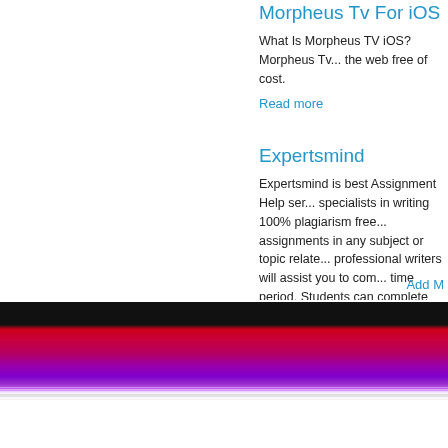Morpheus Tv For iOS
What Is Morpheus TV iOS? Morpheus Tv... the web free of cost.
Read more
Expertsmind
Expertsmind is best Assignment Help ser... specialists in writing 100% plagiarism free... assignments in any subject or topic relate... professional writers will assist you to com... time period. Students can complete their...
Read more
Add M
[Figure (other): Black navigation bar followed by a vivid red-to-purple gradient background with horizontal scan-line effect at the bottom]